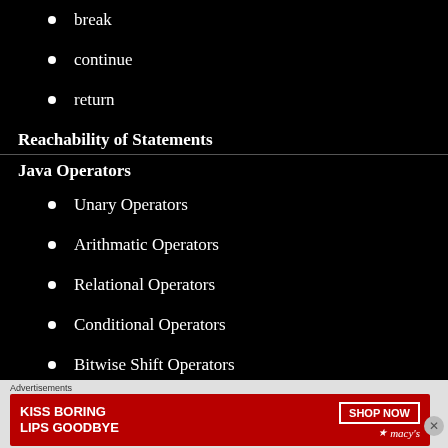break
continue
return
Reachability of Statements
Java Operators
Unary Operators
Arithmatic Operators
Relational Operators
Conditional Operators
Bitwise Shift Operators
Logical Operators
Advertisements